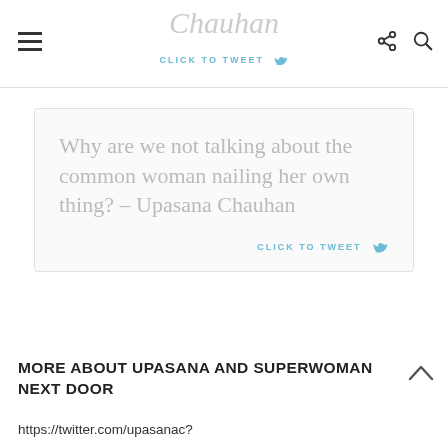Chauhan | CLICK TO TWEET
Why are we not talking about the common woman nailing her own thing? – Upasana Chauhan
CLICK TO TWEET
MORE ABOUT UPASANA AND SUPERWOMAN NEXT DOOR
https://twitter.com/upasanac?